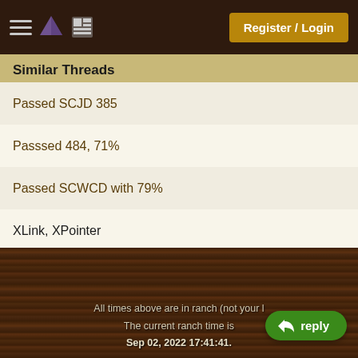Register / Login
Similar Threads
Passed SCJD 385
Passsed 484, 71%
Passed SCWCD with 79%
XLink, XPointer
org.w3c.dom & save xml documents
More...
All times above are in ranch (not your local time). The current ranch time is Sep 02, 2022 17:41:41.